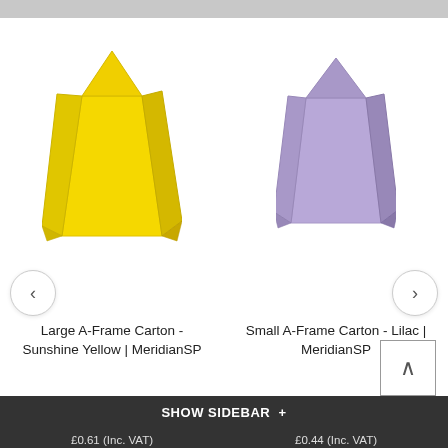[Figure (photo): Yellow A-Frame Carton product image on white background]
[Figure (photo): Lilac A-Frame Carton product image on white background]
Large A-Frame Carton - Sunshine Yellow | MeridianSP
Small A-Frame Carton - Lilac | MeridianSP
SHOW SIDEBAR +
£0.61 (Inc. VAT)
£0.44 (Inc. VAT)